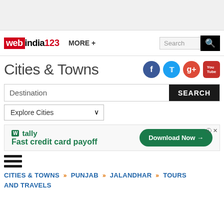webindia123 | MORE + | Search
Cities & Towns
Destination SEARCH
Explore Cities
[Figure (screenshot): Tally advertisement banner: Fast credit card payoff, Download Now button]
[Figure (illustration): Hamburger menu icon (three horizontal lines)]
CITIES & TOWNS » PUNJAB » JALANDHAR » TOURS AND TRAVELS